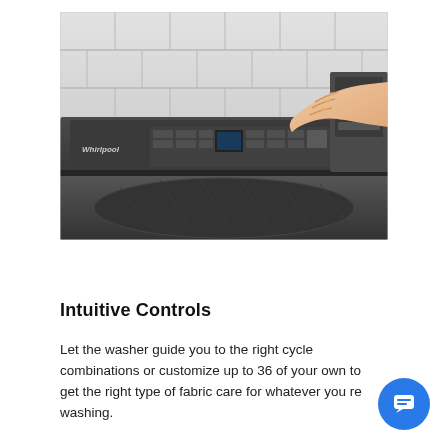[Figure (photo): A person's hand pressing buttons on the control panel of a dark grey Whirlpool top-load washing machine, set against a white tile wall background.]
Intuitive Controls
Let the washer guide you to the right cycle combinations or customize up to 36 of your own to get the right type of fabric care for whatever you re washing.